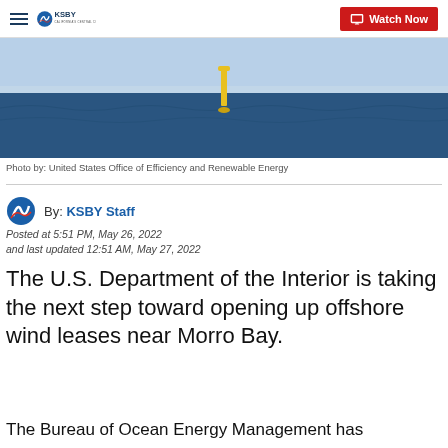KSBY — California's Central Coast | Watch Now
[Figure (photo): Offshore wind buoy or marker in the ocean with blue sky and calm water]
Photo by: United States Office of Efficiency and Renewable Energy
By: KSBY Staff
Posted at 5:51 PM, May 26, 2022
and last updated 12:51 AM, May 27, 2022
The U.S. Department of the Interior is taking the next step toward opening up offshore wind leases near Morro Bay.
The Bureau of Ocean Energy Management has